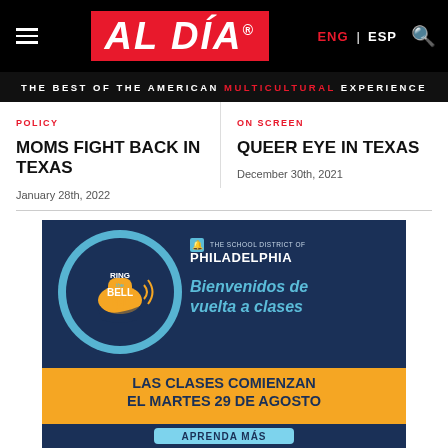AL DÍA — ENG | ESP
THE BEST OF THE AMERICAN MULTICULTURAL EXPERIENCE
POLICY
MOMS FIGHT BACK IN TEXAS
January 28th, 2022
ON SCREEN
QUEER EYE IN TEXAS
December 30th, 2021
[Figure (illustration): School District of Philadelphia advertisement: 'Ring the Bell PHL' circular logo on left with bell graphic and Pennsylvania state outline; right side reads 'THE SCHOOL DISTRICT OF PHILADELPHIA' and 'Bienvenidos de vuelta a clases'; bottom orange band reads 'LAS CLASES COMIENZAN EL MARTES 29 DE AGOSTO'; light blue button at bottom reads 'APRENDA MÁS']